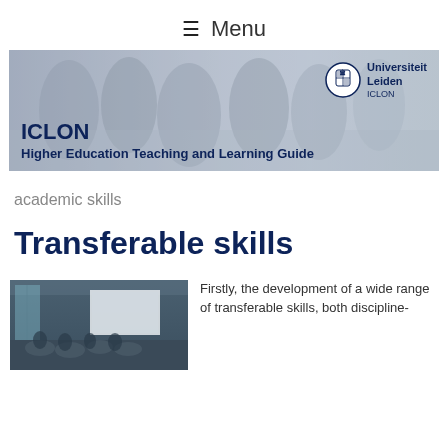≡ Menu
[Figure (photo): Banner photo of students sitting and talking in a university space, with ICLON Higher Education Teaching and Learning Guide title and Universiteit Leiden ICLON logo overlaid]
academic skills
Transferable skills
[Figure (photo): Classroom photo showing students seated at tables with a presentation screen at the front]
Firstly, the development of a wide range of transferable skills, both discipline-